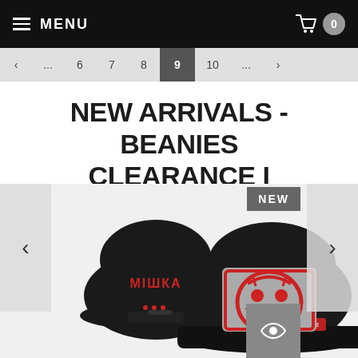MENU | Cart 0
< ... 6 7 8 9 10 ... >
NEW ARRIVALS - BEANIES CLEARANCE I
[Figure (photo): Two black Mishka snapback hats with red logo embroidery - one showing front with large red graphic patch on grey background, one showing back with red Mishka text. NEW badge in grey box top right. Eye icon badge bottom right.]